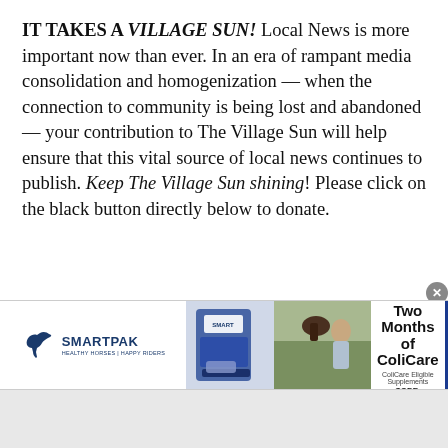IT TAKES A VILLAGE SUN! Local News is more important now than ever. In an era of rampant media consolidation and homogenization — when the connection to community is being lost and abandoned — your contribution to The Village Sun will help ensure that this vital source of local news continues to publish. Keep The Village Sun shining! Please click on the black button directly below to donate.
[Figure (other): SmartPak advertisement banner: SmartPak logo on left with horse icon, product and horse photos in center-left, '50% Off Two Months of ColiCare — ColiCare Eligible Supplements CODE: COLICARE10' text in center, and blue 'Shop Now' button on right. Close button (x) in top-right corner.]